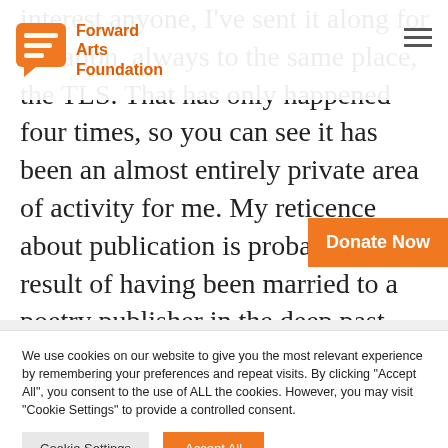Forward Arts Foundation
interest anyone, I've sent it along for donation, always to the same place, the TLS. That has only happened four times, so you can see it has been an almost entirely private area of activity for me. My reticence about publication is probably the result of having been married to a poetry publisher in the deep past and working in the offices of a literary magazine: seeing poetry as a professionalized activity is quite sobering.
Donate Now
We use cookies on our website to give you the most relevant experience by remembering your preferences and repeat visits. By clicking “Accept All”, you consent to the use of ALL the cookies. However, you may visit "Cookie Settings" to provide a controlled consent.
Cookie Settings
Accept All